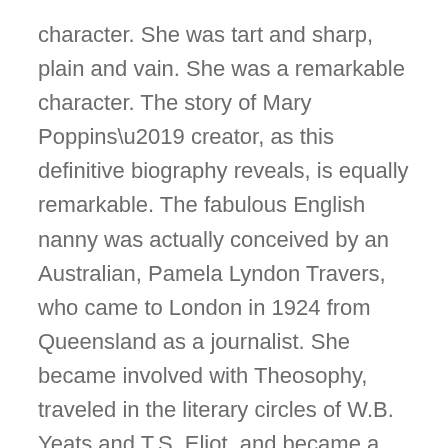character. She was tart and sharp, plain and vain. She was a remarkable character. The story of Mary Poppins' creator, as this definitive biography reveals, is equally remarkable. The fabulous English nanny was actually conceived by an Australian, Pamela Lyndon Travers, who came to London in 1924 from Queensland as a journalist. She became involved with Theosophy, traveled in the literary circles of W.B. Yeats and T.S. Eliot, and became a disciple of the famed spiritual guru, Gurdjieff. She famously clashed with Walt Disney over the adaptation of the Mary Poppins books into film. Travers, whom Disney accused of vanity for “thinking you know more about Mary Poppins than I do,” was as tart and opinionated as Julie Andrews’s big-screen Mary Poppins was cheery. Yet it was a